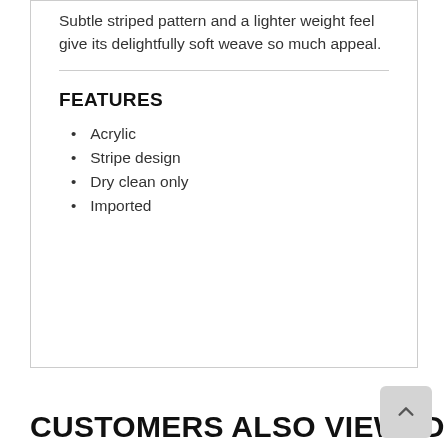Subtle striped pattern and a lighter weight feel give its delightfully soft weave so much appeal.
FEATURES
Acrylic
Stripe design
Dry clean only
Imported
CUSTOMERS ALSO VIEWED